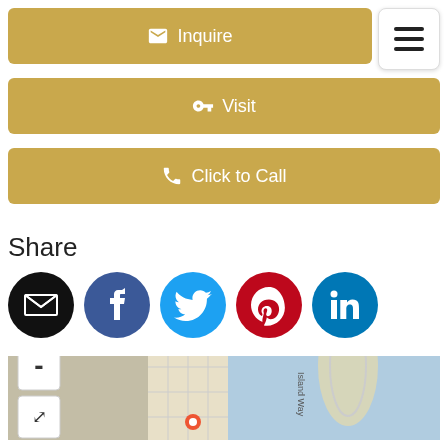[Figure (infographic): Gold button with envelope icon and text 'Inquire']
[Figure (infographic): Hamburger menu button in top right corner]
[Figure (infographic): Gold button with key icon and text 'Visit']
[Figure (infographic): Gold button with phone icon and text 'Click to Call']
Share
[Figure (infographic): Social media icons: email (black), Facebook (dark blue), Twitter (blue), Pinterest (red), LinkedIn (dark blue)]
[Figure (map): Map showing coastal area with zoom in/out buttons and fullscreen button, showing Island Way street]